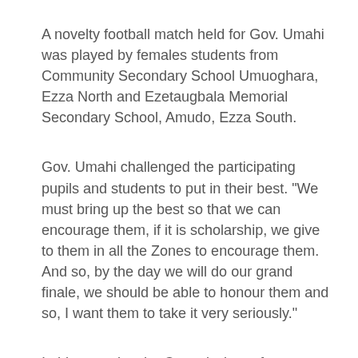A novelty football match held for Gov. Umahi was played by females students from Community Secondary School Umuoghara, Ezza North and Ezetaugbala Memorial Secondary School, Amudo, Ezza South.
Gov. Umahi challenged the participating pupils and students to put in their best. "We must bring up the best so that we can encourage them, if it is scholarship, we give to them in all the Zones to encourage them. And so, by the day we will do our grand finale, we should be able to honour them and so, I want them to take it very seriously."
In his remarks, the Commissioner for Education, Dr. Onyebuchi Chima, attributed the ongoing Sports